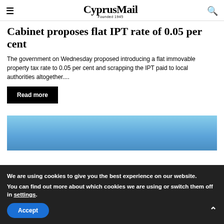CyprusMail — Founded 1945
Cabinet proposes flat IPT rate of 0.05 per cent
The government on Wednesday proposed introducing a flat immovable property tax rate to 0.05 per cent and scrapping the IPT paid to local authorities altogether....
Read more
[Figure (photo): Blue sky photograph serving as article thumbnail]
We are using cookies to give you the best experience on our website.
You can find out more about which cookies we are using or switch them off in settings.
Accept